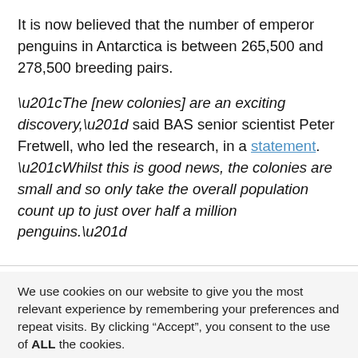It is now believed that the number of emperor penguins in Antarctica is between 265,500 and 278,500 breeding pairs.
“The [new colonies] are an exciting discovery,” said BAS senior scientist Peter Fretwell, who led the research, in a statement. “Whilst this is good news, the colonies are small and so only take the overall population count up to just over half a million penguins.”
We use cookies on our website to give you the most relevant experience by remembering your preferences and repeat visits. By clicking “Accept”, you consent to the use of ALL the cookies.
Do not sell my personal information.